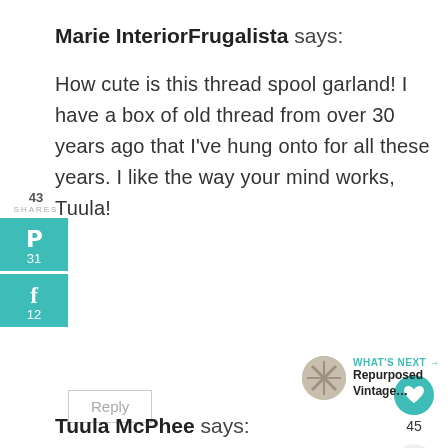Marie InteriorFrugalista says:
How cute is this thread spool garland! I have a box of old thread from over 30 years ago that I've hung onto for all these years. I like the way your mind works, Tuula!
[Figure (infographic): Social share sidebar with Pinterest (31) and Facebook (12) buttons, teal/green color, showing 43 SHARES total]
[Figure (infographic): Love/heart button (teal circle) with count 45, and share button]
[Figure (infographic): What's Next promo with circular image and text: Repurposed Vintage...]
Tuula McPhee says: